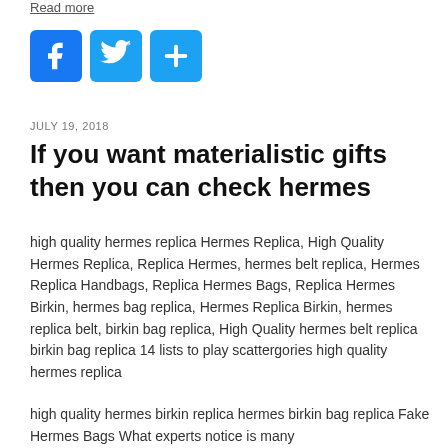Read more
[Figure (other): Social media share buttons: Facebook (blue F icon), Twitter (blue bird icon), Share/Add (blue plus icon)]
JULY 19, 2018
If you want materialistic gifts then you can check hermes
high quality hermes replica Hermes Replica, High Quality Hermes Replica, Replica Hermes, hermes belt replica, Hermes Replica Handbags, Replica Hermes Bags, Replica Hermes Birkin, hermes bag replica, Hermes Replica Birkin, hermes replica belt, birkin bag replica, High Quality hermes belt replica birkin bag replica 14 lists to play scattergories high quality hermes replica
high quality hermes birkin replica hermes birkin bag replica Fake Hermes Bags What experts notice is many